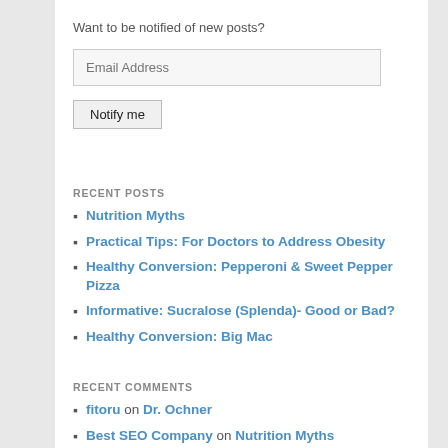Want to be notified of new posts?
Email Address
Notify me
RECENT POSTS
Nutrition Myths
Practical Tips: For Doctors to Address Obesity
Healthy Conversion: Pepperoni & Sweet Pepper Pizza
Informative: Sucralose (Splenda)- Good or Bad?
Healthy Conversion: Big Mac
RECENT COMMENTS
fitoru on Dr. Ochner
Best SEO Company on Nutrition Myths
Pete on Dr. Ochner
Farvin on Dr. Ochner